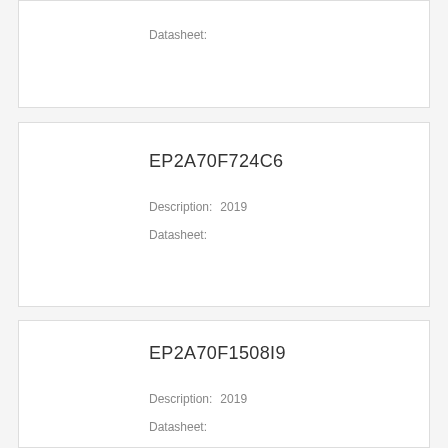Datasheet:
EP2A70F724C6
Description:   2019
Datasheet:
EP2A70F1508I9
Description:   2019
Datasheet: